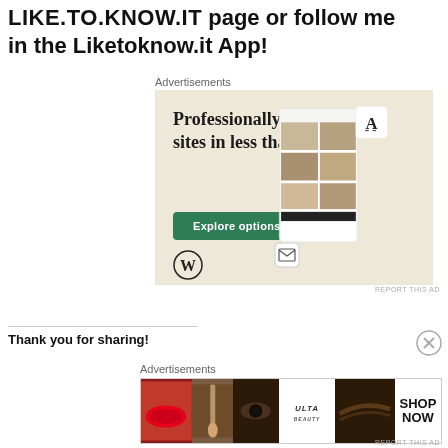LIKE.TO.KNOW.IT page or follow me in the Liketoknow.it App!
Advertisements
[Figure (illustration): WordPress ad with text: Professionally designed sites in less than a week. Green Explore options button. WordPress logo. Background mockup of website screens.]
REPORT THIS AD
Thank you for sharing!
Advertisements
[Figure (illustration): ULTA beauty advertisement banner showing close-up beauty images: red lips with brush, eye with lashes, ULTA logo, brows, and SHOP NOW text.]
REPORT THIS AD